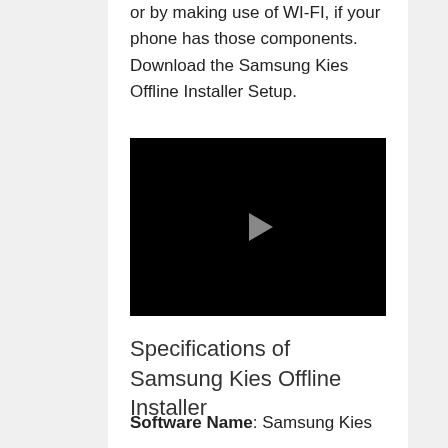or by making use of WI-FI, if your phone has those components. Download the Samsung Kies Offline Installer Setup.
[Figure (other): Black video player box with a grey play button triangle in the center]
Specifications of Samsung Kies Offline Installer
Software Name: Samsung Kies